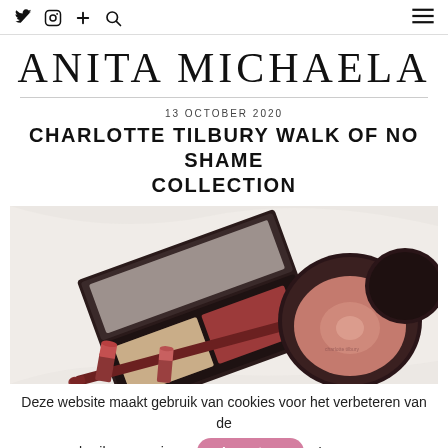Twitter Instagram + Search [hamburger menu]
ANITA MICHAELA
13 OCTOBER 2020
CHARLOTTE TILBURY WALK OF NO SHAME COLLECTION
[Figure (photo): Flat lay photo of Charlotte Tilbury Walk of No Shame makeup collection including an eyeshadow palette, blush compact, eyeliner pencil, and lipstick on a white silk background]
Deze website maakt gebruik van cookies voor het verbeteren van de gebruikerservaring. Accepteer Lees meer